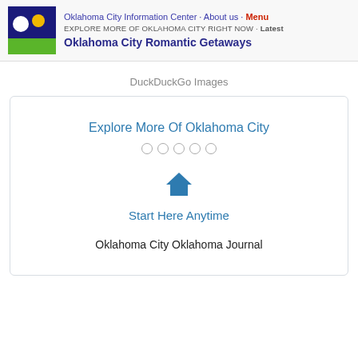Oklahoma City Information Center · About us · Menu
EXPLORE MORE OF OKLAHOMA CITY RIGHT NOW · Latest
Oklahoma City Romantic Getaways
DuckDuckGo Images
[Figure (screenshot): Card with title 'Explore More Of Oklahoma City', five pagination dots, a house icon, 'Start Here Anytime' link, and 'Oklahoma City Oklahoma Journal' text]